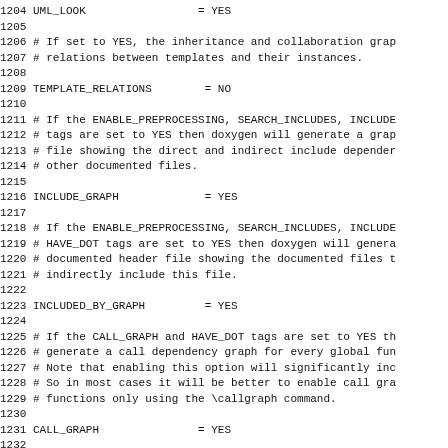Code/configuration file content showing Doxygen configuration options from lines 1204-1235
1204 UML_LOOK                 = YES
1205
1206 # If set to YES, the inheritance and collaboration grap
1207 # relations between templates and their instances.
1208
1209 TEMPLATE_RELATIONS        = NO
1210
1211 # If the ENABLE_PREPROCESSING, SEARCH_INCLUDES, INCLUDE
1212 # tags are set to YES then doxygen will generate a grap
1213 # file showing the direct and indirect include dependen
1214 # other documented files.
1215
1216 INCLUDE_GRAPH             = YES
1217
1218 # If the ENABLE_PREPROCESSING, SEARCH_INCLUDES, INCLUDE
1219 # HAVE_DOT tags are set to YES then doxygen will genera
1220 # documented header file showing the documented files t
1221 # indirectly include this file.
1222
1223 INCLUDED_BY_GRAPH         = YES
1224
1225 # If the CALL_GRAPH and HAVE_DOT tags are set to YES th
1226 # generate a call dependency graph for every global fun
1227 # Note that enabling this option will significantly inc
1228 # So in most cases it will be better to enable call gra
1229 # functions only using the \callgraph command.
1230
1231 CALL_GRAPH               = YES
1232
1233 # If the CALLER_GRAPH and HAVE_DOT tags are set to YES
1234 # generate a caller dependency graph for every global f
1235 # Note that enabling this option will significantly inc